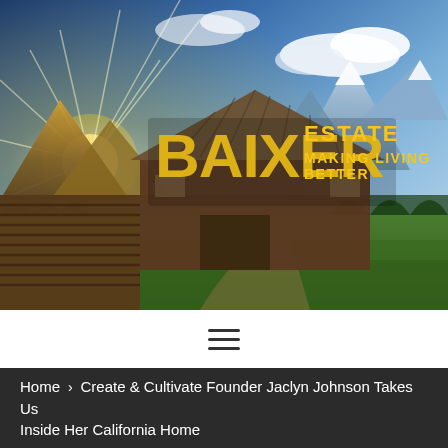[Figure (photo): Landscape photo of a rustic wooden barn in a green field with mountains and dramatic sky in the background. Overlaid with the BAIXER ESTATE logo in bold yellow distressed lettering with tagline 'MAKING LIVING BETTER'.]
[Figure (logo): BAIXER ESTATE logo — bold yellow distressed block letters 'BAIXER' with 'ESTATE' and 'MAKING LIVING BETTER' in yellow to the right.]
≡ (hamburger menu icon)
Home > Create & Cultivate Founder Jaclyn Johnson Takes Us Inside Her California Home